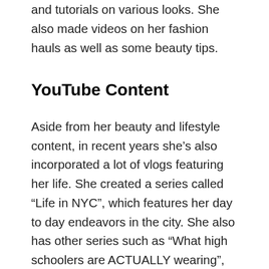and tutorials on various looks. She also made videos on her fashion hauls as well as some beauty tips.
YouTube Content
Aside from her beauty and lifestyle content, in recent years she's also incorporated a lot of vlogs featuring her life. She created a series called “Life in NYC”, which features her day to day endeavors in the city. She also has other series such as “What high schoolers are ACTUALLY wearing”, and “What your mother doesn’t tell you about”. She uploads several